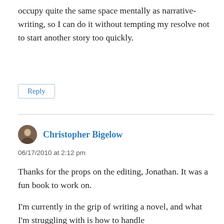occupy quite the same space mentally as narrative-writing, so I can do it without tempting my resolve not to start another story too quickly.
Reply
Christopher Bigelow
06/17/2010 at 2:12 pm
Thanks for the props on the editing, Jonathan. It was a fun book to work on.
I'm currently in the grip of writing a novel, and what I'm struggling with is how to handle